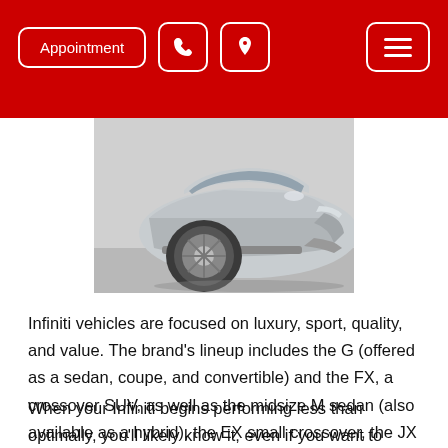Appointment [phone icon] [location icon] [menu icon]
[Figure (photo): Silver Infiniti crossover SUV photographed from front-left angle showing wheel, front fascia, and side profile]
Infiniti vehicles are focused on luxury, sport, quality, and value. The brand’s lineup includes the G (offered as a sedan, coupe, and convertible) and the FX, a crossover SUV, as well as the midsize M sedan (also available as a hybrid), the EX small crossover, the JX midsize crossover, and the QX large SUV. At Surgical Auto Repair, we work on all Infiniti models.
When your Infiniti begins performing less than optimally, you’ll likely know it, even if you want to